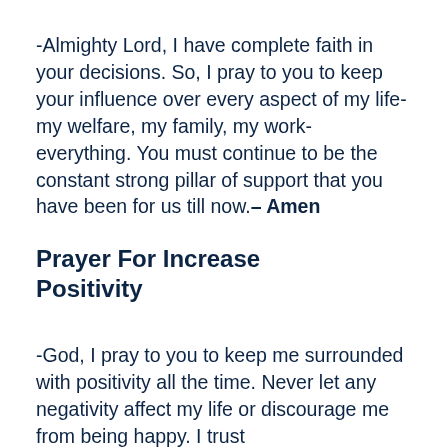-Almighty Lord, I have complete faith in your decisions. So, I pray to you to keep your influence over every aspect of my life- my welfare, my family, my work- everything. You must continue to be the constant strong pillar of support that you have been for us till now.– Amen
Prayer For Increase Positivity
-God, I pray to you to keep me surrounded with positivity all the time. Never let any negativity affect my life or discourage me from being happy. I trust